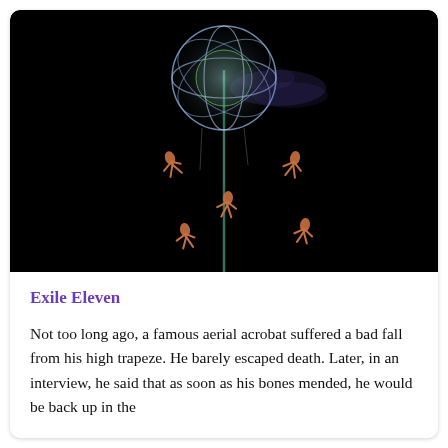[Figure (photo): Dark circus performance photo: aerial acrobats suspended from a tall pole topped with a glowing spherical wire cage emitting blue/purple light and smoke. Multiple acrobats in orange costumes hang from the structure at various heights against a black background.]
Exile Eleven
Not too long ago, a famous aerial acrobat suffered a bad fall from his high trapeze. He barely escaped death. Later, in an interview, he said that as soon as his bones mended, he would be back up in the